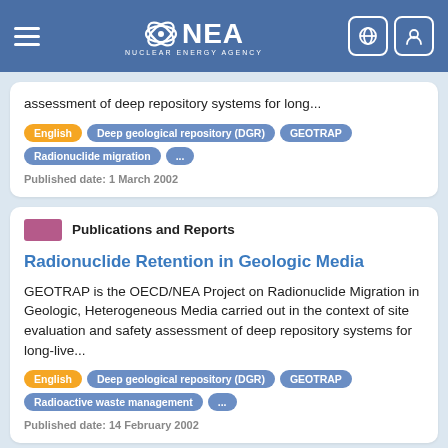NEA Nuclear Energy Agency
assessment of deep repository systems for long...
English | Deep geological repository (DGR) | GEOTRAP | Radionuclide migration | ...
Published date: 1 March 2002
Publications and Reports
Radionuclide Retention in Geologic Media
GEOTRAP is the OECD/NEA Project on Radionuclide Migration in Geologic, Heterogeneous Media carried out in the context of site evaluation and safety assessment of deep repository systems for long-live...
English | Deep geological repository (DGR) | GEOTRAP | Radioactive waste management | ...
Published date: 14 February 2002